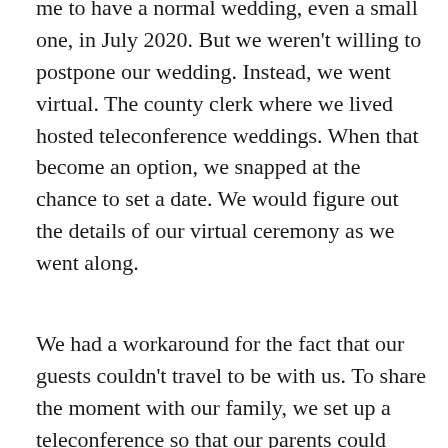me to have a normal wedding, even a small one, in July 2020. But we weren't willing to postpone our wedding. Instead, we went virtual. The county clerk where we lived hosted teleconference weddings. When that become an option, we snapped at the chance to set a date. We would figure out the details of our virtual ceremony as we went along.
We had a workaround for the fact that our guests couldn't travel to be with us. To share the moment with our family, we set up a teleconference so that our parents could watch us interact with the county clerk and get married. Using